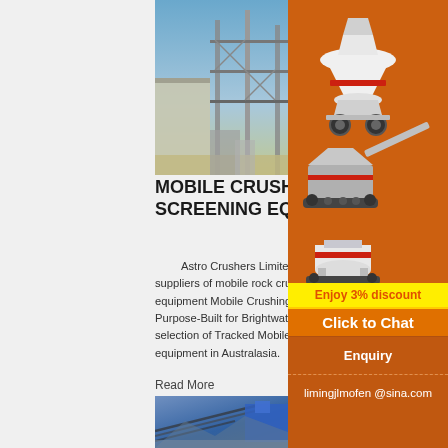[Figure (photo): Industrial crushing/screening plant structure with metal framework against blue sky]
MOBILE CRUSHING AND SCREENING EQUIPMENT
Astro Crushers Limited, London, UK – Gl... suppliers of mobile rock crushing and screening equipment Mobile Crushing and Screening Pl... Purpose-Built for Brightwater Manufacturing h... largest selection of Tracked Mobile Crushing and Screening equipment in Australasia.
Read More
[Figure (photo): Blue mobile crushing and screening equipment on site with conveyor belts and mountains in background]
[Figure (photo): Advertisement: Mining/crushing machinery on orange background with Enjoy 3% discount and Click to Chat call to action, Enquiry contact limingjlmofen@sina.com]